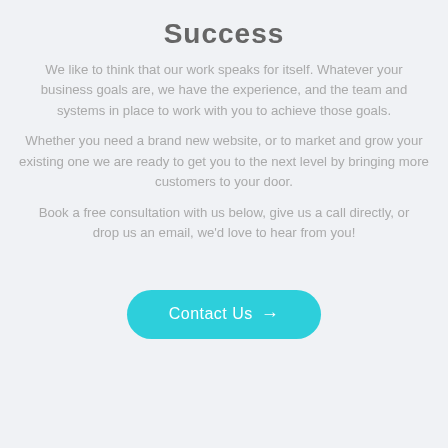Success
We like to think that our work speaks for itself. Whatever your business goals are, we have the experience, and the team and systems in place to work with you to achieve those goals.
Whether you need a brand new website, or to market and grow your existing one we are ready to get you to the next level by bringing more customers to your door.
Book a free consultation with us below, give us a call directly, or drop us an email, we'd love to hear from you!
Contact Us →